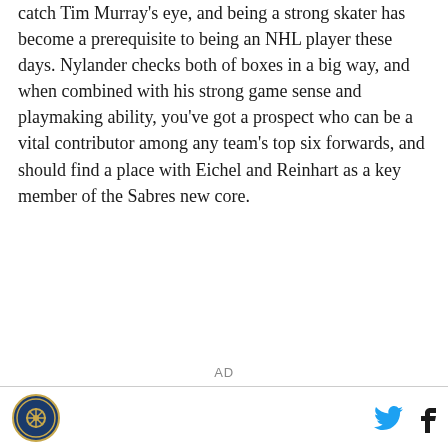catch Tim Murray's eye, and being a strong skater has become a prerequisite to being an NHL player these days. Nylander checks both of boxes in a big way, and when combined with his strong game sense and playmaking ability, you've got a prospect who can be a vital contributor among any team's top six forwards, and should find a place with Eichel and Reinhart as a key member of the Sabres new core.
AD
[logo] [twitter] [facebook]